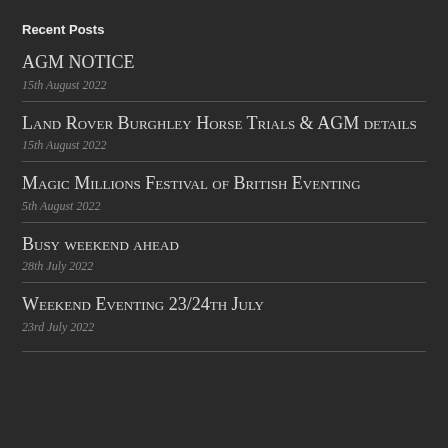Recent Posts
AGM NOTICE
15th August 2022
Land Rover Burghley Horse Trials & AGM details
15th August 2022
Magic Millions Festival of British Eventing
5th August 2022
Busy weekend ahead
28th July 2022
Weekend Eventing 23/24th July
23rd July 2022